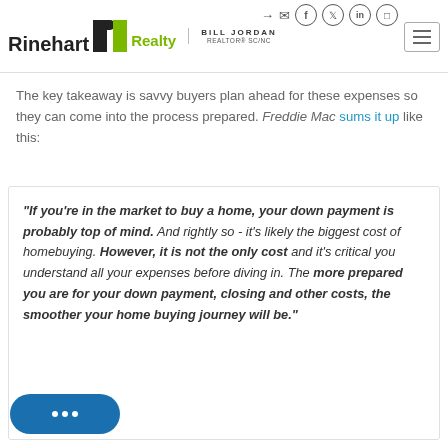Rinehart Realty | Bill Jordan REALTOR® SC/NC
The key takeaway is savvy buyers plan ahead for these expenses so they can come into the process prepared. Freddie Mac sums it up like this:
“If you’re in the market to buy a home, your down payment is probably top of mind. And rightly so - it’s likely the biggest cost of homebuying. However, it is not the only cost and it’s critical you understand all your expenses before diving in. The more prepared you are for your down payment, closing and other costs, the smoother your home buying journey will be.”